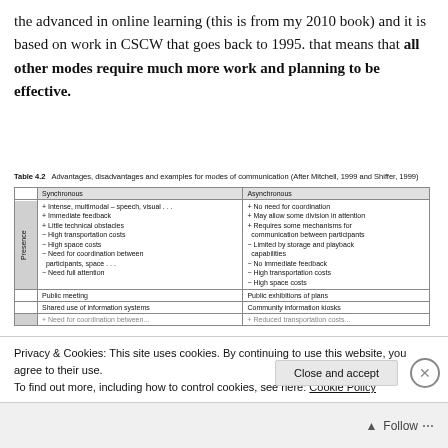the advanced in online learning (this is from my 2010 book) and it is based on work in CSCW that goes back to 1995. that means that all other modes require much more work and planning to be effective.
Table 4.2   Advantages, disadvantages and examples for modes of communication (After Mitchell, 1999 and Shiffer, 1999)
|  | Synchronous | Asynchronous |
| --- | --- | --- |
| Presence | + Intense, multimodal – speech, visual . . .
+ Immediate feedback
+ Little technical obstacles
− High transportation costs
− High space costs
− Need for coordination between participants, space . . .
− Need full attention | + No need for coordination
+ May allow some division in attention
+ Requires some mechanisms for communication between participants
− Limited by storage and playback capabilities
− No immediate feedback
− High transportation costs
− High space costs |
|  | Public meeting | Public exhibitions of plans |
|  | Shared use of information systems | Community information kiosks |
|  | Need for coordination between... | Reduced transportation costs... |
Privacy & Cookies: This site uses cookies. By continuing to use this website, you agree to their use.
To find out more, including how to control cookies, see here: Cookie Policy